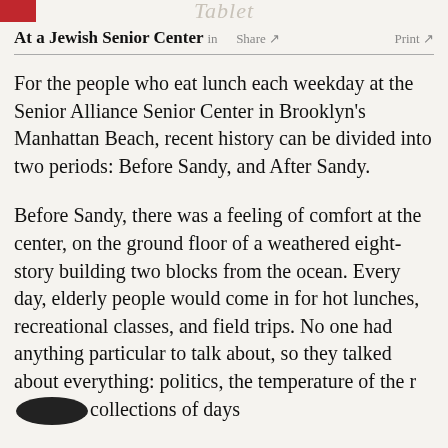Tablet
At a Jewish Senior Center in  Share ↗  Print ↗
For the people who eat lunch each weekday at the Senior Alliance Senior Center in Brooklyn's Manhattan Beach, recent history can be divided into two periods: Before Sandy, and After Sandy.
Before Sandy, there was a feeling of comfort at the center, on the ground floor of a weathered eight-story building two blocks from the ocean. Every day, elderly people would come in for hot lunches, recreational classes, and field trips. No one had anything particular to talk about, so they talked about everything: politics, the temperature of the r[REDACTED] collections of days